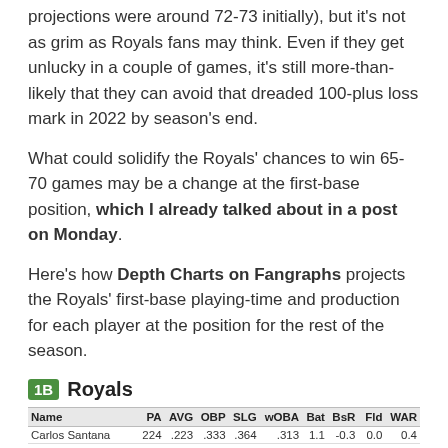projections were around 72-73 initially), but it's not as grim as Royals fans may think. Even if they get unlucky in a couple of games, it's still more-than-likely that they can avoid that dreaded 100-plus loss mark in 2022 by season's end.
What could solidify the Royals' chances to win 65-70 games may be a change at the first-base position, which I already talked about in a post on Monday.
Here's how Depth Charts on Fangraphs projects the Royals' first-base playing-time and production for each player at the position for the rest of the season.
1B Royals
| Name | PA | AVG | OBP | SLG | wOBA | Bat | BsR | Fld | WAR |
| --- | --- | --- | --- | --- | --- | --- | --- | --- | --- |
| Carlos Santana | 224 | .223 | .333 | .364 | .313 | 1.1 | -0.3 | 0.0 | 0.4 |
| Hunter Dozier | 124 | .241 | .310 | .421 | .327 | 1.4 | -0.3 | -0.6 | 0.2 |
| Vinnie Pasquantino | 89 | .266 | .348 | .475 | .359 | 3.7 | -0.1 | 0.0 | 0.5 |
| Ryan O'Hearn | 35 | .224 | .296 | .403 | .307 | 0.0 | 0.0 | 0.0 | 0.0 |
| Nick Pratto | 15 | .221 | .318 | .419 | .326 | 0.2 | 0.0 | 0.0 | 0.0 |